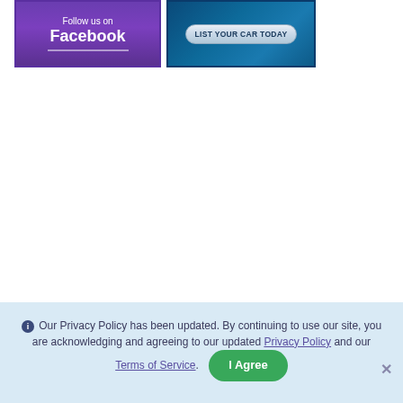[Figure (illustration): Purple Facebook 'Follow us on Facebook' banner button with white text]
[Figure (illustration): Dark blue car listing banner with 'LIST YOUR CAR TODAY' button]
Our Privacy Policy has been updated. By continuing to use our site, you are acknowledging and agreeing to our updated Privacy Policy and our Terms of Service.  I Agree